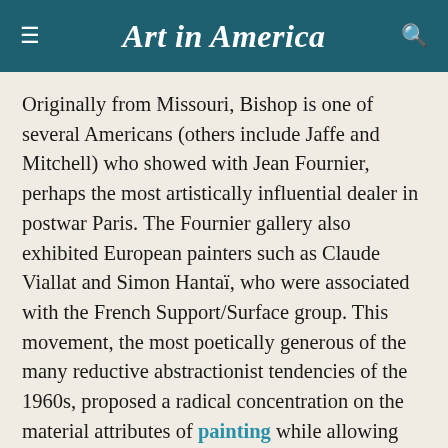Art in America
Originally from Missouri, Bishop is one of several Americans (others include Jaffe and Mitchell) who showed with Jean Fournier, perhaps the most artistically influential dealer in postwar Paris. The Fournier gallery also exhibited European painters such as Claude Viallat and Simon Hantaï, who were associated with the French Support/Surface group. This movement, the most poetically generous of the many reductive abstractionist tendencies of the 1960s, proposed a radical concentration on the material attributes of painting while allowing for allusive content. Fournier often referred to Matisse's last works, brightly colored paper cutouts pinned to fabric, as containing hints of the future of painting. Many of the gallery's artists defined painting through formal problems regarding materiality and color.